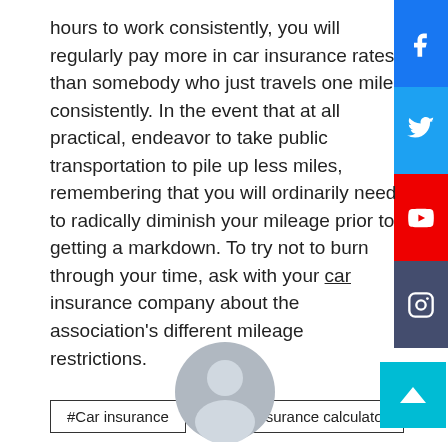hours to work consistently, you will regularly pay more in car insurance rates than somebody who just travels one mile consistently. In the event that at all practical, endeavor to take public transportation to pile up less miles, remembering that you will ordinarily need to radically diminish your mileage prior to getting a markdown. To try not to burn through your time, ask with your car insurance company about the association's different mileage restrictions.
#Car insurance
#car insurance calculator
[Figure (illustration): Gray circular user/avatar icon placeholder]